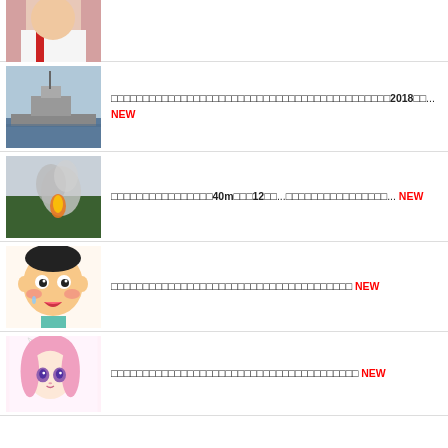[Figure (photo): Partial image of a person in white and red clothing, cropped]
[Figure (photo): Military/naval warship on water]
□□□□□□□□□□□□□□□□□□□□□□□□□□2018□□... NEW
[Figure (photo): Explosion or smoke rising from forested area]
□□□□□□□□□□□□□40m□□□12□□...□□□□□□□□□□□□□□□□... NEW
[Figure (illustration): Cartoon anime-style boy character with tearful expression]
□□□□□□□□□□□□□□□□□□□□□□□□□□□□□□□□□□□ NEW
[Figure (illustration): Anime girl with pink hair and cat ears]
□□□□□□□□□□□□□□□□□□□□□□□□□□□□□□□□□□□ NEW